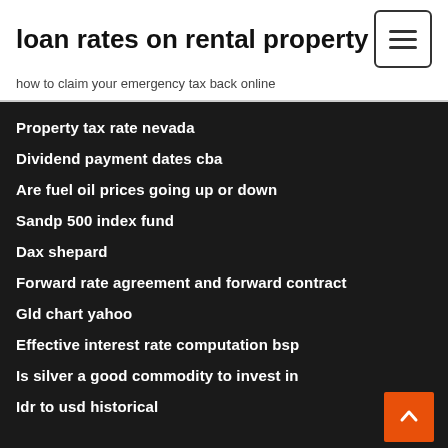loan rates on rental property
how to claim your emergency tax back online
Property tax rate nevada
Dividend payment dates cba
Are fuel oil prices going up or down
Sandp 500 index fund
Dax shepard
Forward rate agreement and forward contract
Gld chart yahoo
Effective interest rate computation bsp
Is silver a good commodity to invest in
Idr to usd historical